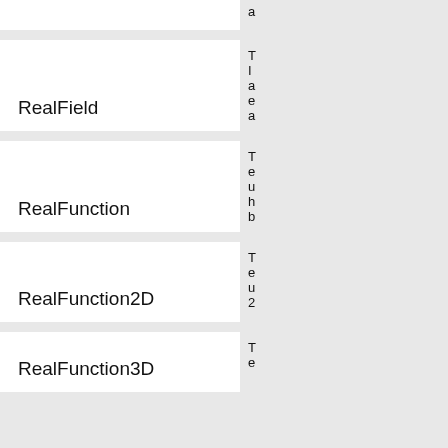RealField
RealFunction
RealFunction2D
RealFunction3D